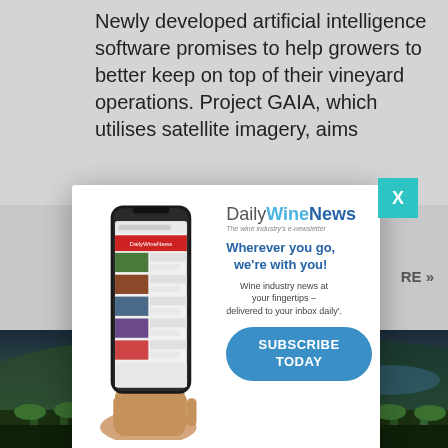Newly developed artificial intelligence software promises to help growers to better keep on top of their vineyard operations. Project GAIA, which utilises satellite imagery, aims
RE »
Apri
[Figure (screenshot): DailyWineNews advertisement popup showing a hand holding a smartphone with the DailyWineNews website displayed. Text reads: DailyWineNews - The wine industry's e-newsletter. Wherever you go, we're with you! Wine industry news at your fingertips - delivered to your inbox daily. SUBSCRIBE TODAY button in blue rounded rectangle.]
[Figure (photo): Vineyard landscape photo showing rows of grapevines in the foreground with hills and water in the background at dusk or dawn.]